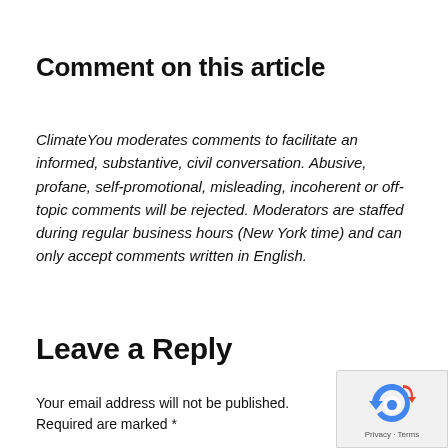Comment on this article
ClimateYou moderates comments to facilitate an informed, substantive, civil conversation. Abusive, profane, self-promotional, misleading, incoherent or off-topic comments will be rejected. Moderators are staffed during regular business hours (New York time) and can only accept comments written in English.
Leave a Reply
Your email address will not be published. Required are marked *